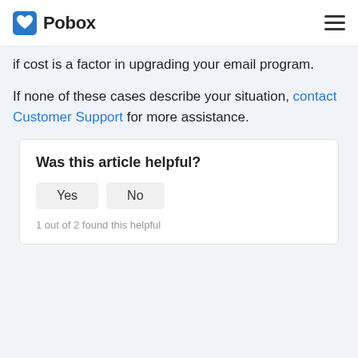Pobox
if cost is a factor in upgrading your email program.
If none of these cases describe your situation, contact Customer Support for more assistance.
Was this article helpful?
Yes   No
1 out of 2 found this helpful